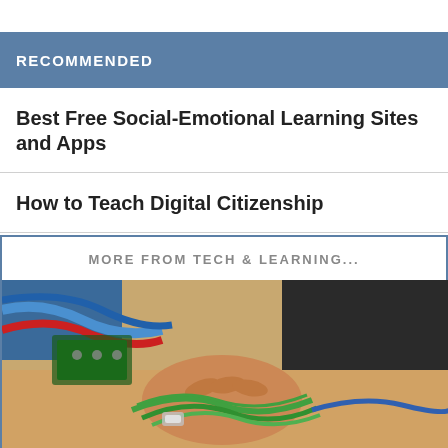RECOMMENDED
Best Free Social-Emotional Learning Sites and Apps
How to Teach Digital Citizenship
MORE FROM TECH & LEARNING...
[Figure (photo): Person working with colorful wires and electronics components on a table, wearing a watch, with blue cables visible in background]